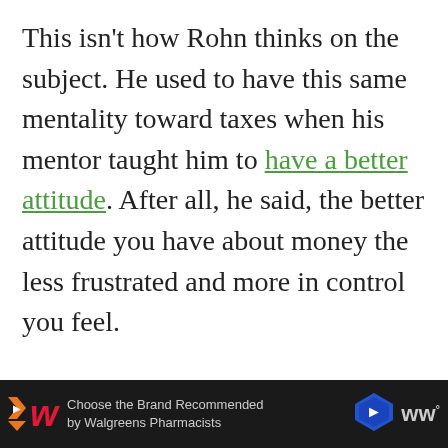This isn't how Rohn thinks on the subject. He used to have this same mentality toward taxes when his mentor taught him to have a better attitude. After all, he said, the better attitude you have about money the less frustrated and more in control you feel.

Start by looking at all the good that taxes do. Your contribution helps make society better for everyone by
[Figure (other): Advertisement banner at the bottom of the page. Black background with Walgreens logo (red cursive W), text 'Choose the Brand Recommended by Walgreens Pharmacists', a blue navigation arrow icon, and WW logo with degree symbol.]